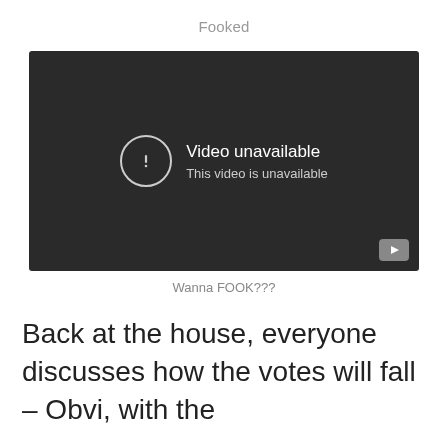Fooked
[Figure (screenshot): Embedded video player showing 'Video unavailable – This video is unavailable' error message with a YouTube logo in the bottom right corner.]
Wanna FOOK???
Back at the house, everyone discusses how the votes will fall – Obvi, with the